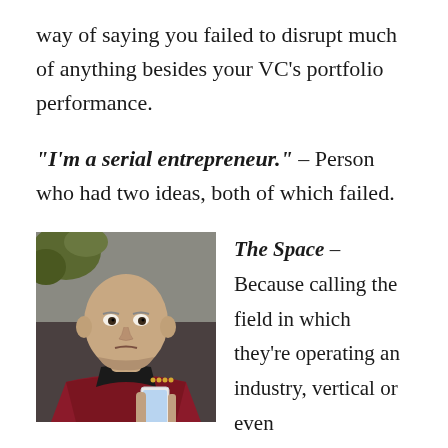way of saying you failed to disrupt much of anything besides your VC's portfolio performance.
"I'm a serial entrepreneur." – Person who had two ideas, both of which failed.
[Figure (photo): Bald man in a dark red and black uniform holding a white smartphone, resembling Captain Picard from Star Trek]
The Space – Because calling the field in which they're operating an industry, vertical or even genre is too hard, entrepreneurs like referring
genre is too hard, entrepreneurs like referring